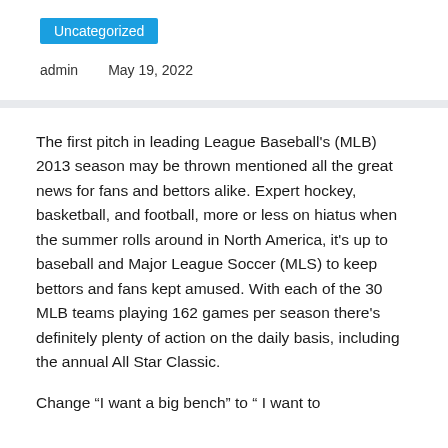Uncategorized
admin    May 19, 2022
The first pitch in leading League Baseball's (MLB) 2013 season may be thrown mentioned all the great news for fans and bettors alike. Expert hockey, basketball, and football, more or less on hiatus when the summer rolls around in North America, it's up to baseball and Major League Soccer (MLS) to keep bettors and fans kept amused. With each of the 30 MLB teams playing 162 games per season there's definitely plenty of action on the daily basis, including the annual All Star Classic.
Change “I want a big bench” to “ I want to